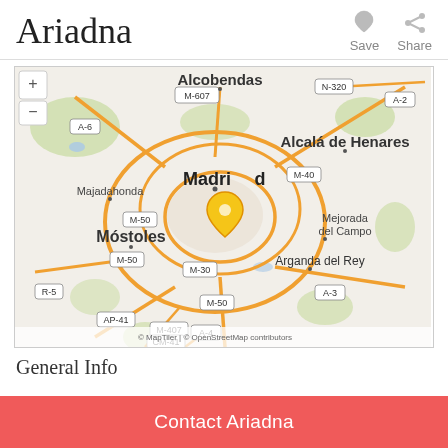Ariadna
[Figure (map): Street map of Madrid region showing Alcobendas, Alcalá de Henares, Majadahonda, Móstoles, Mejorada del Campo, Arganda del Rey and surrounding areas. Roads labeled M-607, A-2, A-6, M-40, M-50, M-30, AP-41, M-407, A-4, A-3, CM-41, R-5. A yellow pin marker is placed over central Madrid. Attribution: © MapTiler | © OpenStreetMap contributors]
General Info
Contact Ariadna